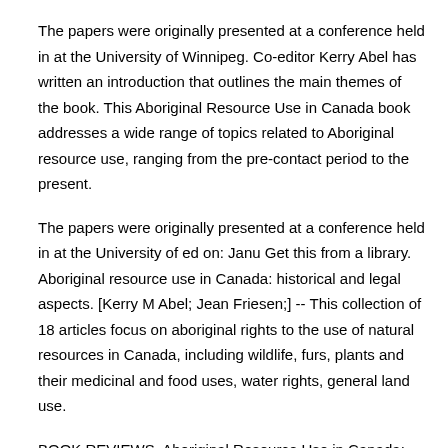The papers were originally presented at a conference held in at the University of Winnipeg. Co-editor Kerry Abel has written an introduction that outlines the main themes of the book. This Aboriginal Resource Use in Canada book addresses a wide range of topics related to Aboriginal resource use, ranging from the pre-contact period to the present.
The papers were originally presented at a conference held in at the University of ed on: Janu Get this from a library. Aboriginal resource use in Canada: historical and legal aspects. [Kerry M Abel; Jean Friesen;] -- This collection of 18 articles focus on aboriginal rights to the use of natural resources in Canada, including wildlife, furs, plants and their medicinal and food uses, water rights, general land use.
BOOK REVIEWS. Aboriginal Resource Use in Canada: Historical and Legal Aspects. Kerry Abel andJeanFrieseneds. Winnipeg,Manitoba: UniversityofManitobaPress, vii + pp. Maps, charts, and references. $ cloth. This book, the sixth volume in. Calgary Indigenous Employment resources.